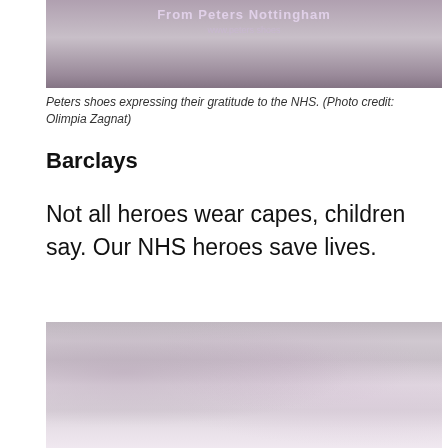[Figure (photo): Top portion of a photo showing a banner from Peters shoes in Nottingham expressing gratitude to the NHS]
Peters shoes expressing their gratitude to the NHS. (Photo credit: Olimpia Zagnat)
Barclays
Not all heroes wear capes, children say. Our NHS heroes save lives.
[Figure (photo): Photo showing children's artwork and drawings celebrating NHS heroes, displayed in what appears to be a Barclays bank branch window]